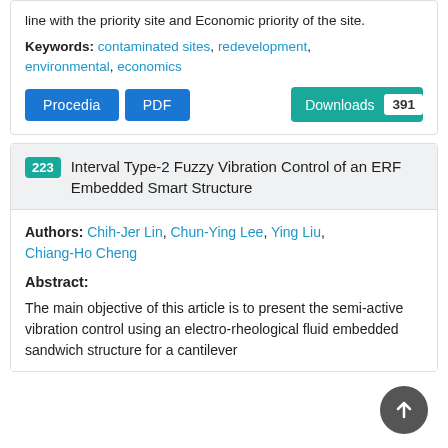line with the priority site and Economic priority of the site.
Keywords: contaminated sites, redevelopment, environmental, economics
Procedia  PDF  Downloads 391
223  Interval Type-2 Fuzzy Vibration Control of an ERF Embedded Smart Structure
Authors: Chih-Jer Lin, Chun-Ying Lee, Ying Liu, Chiang-Ho Cheng
Abstract:
The main objective of this article is to present the semi-active vibration control using an electro-rheological fluid embedded sandwich structure for a cantilever